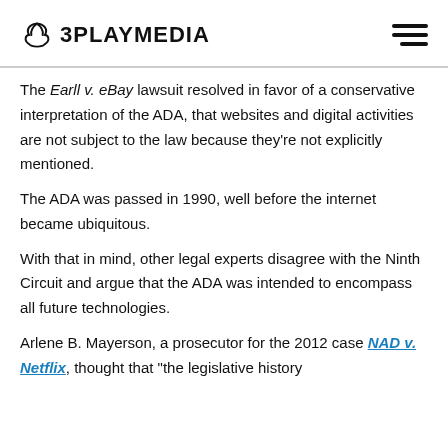3PLAYMEDIA
The Earll v. eBay lawsuit resolved in favor of a conservative interpretation of the ADA, that websites and digital activities are not subject to the law because they're not explicitly mentioned.
The ADA was passed in 1990, well before the internet became ubiquitous.
With that in mind, other legal experts disagree with the Ninth Circuit and argue that the ADA was intended to encompass all future technologies.
Arlene B. Mayerson, a prosecutor for the 2012 case NAD v. Netflix, thought that "the legislative history ... the ADA ... intended to ..."